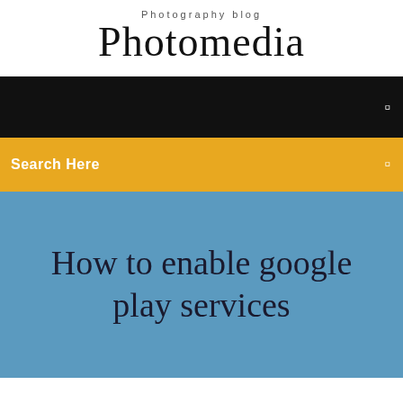Photography blog
Photomedia
[Figure (screenshot): Black navigation bar with a small white icon on the right]
[Figure (screenshot): Yellow/amber search bar with 'Search Here' text on the left and a small white icon on the right]
How to enable google play services